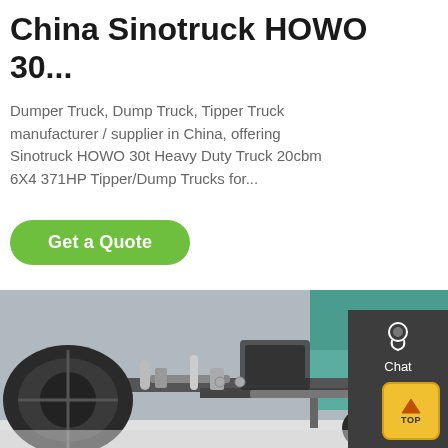China Sinotruck HOWO 30...
Dumper Truck, Dump Truck, Tipper Truck manufacturer / supplier in China, offering Sinotruck HOWO 30t Heavy Duty Truck 20cbm 6X4 371HP Tipper/Dump Trucks for...
[Figure (other): Green button labeled 'Get a Quote']
[Figure (photo): Underside view of a Sinotruck HOWO heavy duty truck showing wheels, axles, chassis frame, and teal/green engine components]
[Figure (infographic): Dark sidebar with Chat, Email, and Contact icons and labels, plus a TOP button at bottom right]